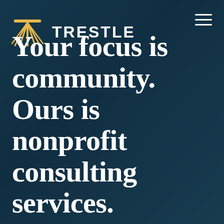[Figure (logo): Trestle logo: a yellow/gold sunburst/trestle icon with rays spreading downward, alongside the word TRESTLE in white bold uppercase letters. A hamburger menu icon is in the top right corner.]
Your focus is community. Ours is nonprofit consulting services.